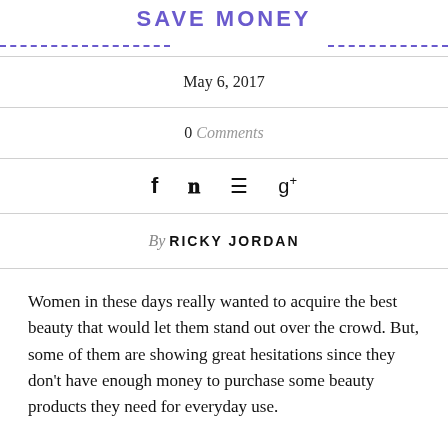SAVE MONEY
| May 6, 2017 |
| 0 Comments |
| f  ❤  ⊕  g+ |
| By RICKY JORDAN |
Women in these days really wanted to acquire the best beauty that would let them stand out over the crowd. But, some of them are showing great hesitations since they don't have enough money to purchase some beauty products they need for everyday use.